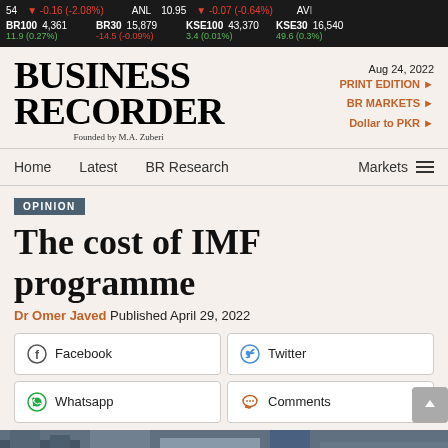54 ▼ -0.16 (-2.08%) ANL 10.95 ▼ -0.07 (-0.64%) AV
BR100 4,361  11.9 (0.27%)  BR30 15,879  -14.5 (-0.09%)  KSE100 43,370  3.4 (0.01%)  KSE30 16,540  49.6 (0.3%)
[Figure (logo): Business Recorder logo with 'Founded by M.A. Zuberi']
Aug 24, 2022
PRINT EDITION ►
BR MARKETS ►
Dollar to PKR ►
Home   Latest   BR Research   Markets
OPINION
The cost of IMF programme
Dr Omer Javed  Published April 29, 2022
Facebook  Twitter  Whatsapp  Comments
[Figure (photo): Partial bottom image strip of a building/financial scene]